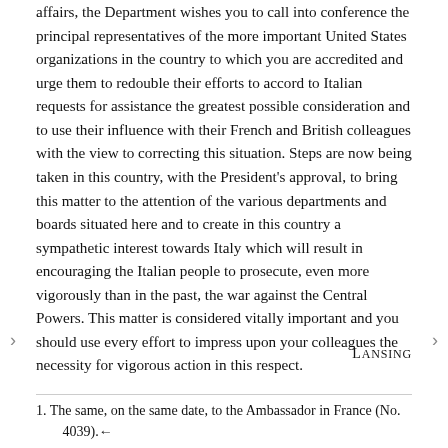affairs, the Department wishes you to call into conference the principal representatives of the more important United States organizations in the country to which you are accredited and urge them to redouble their efforts to accord to Italian requests for assistance the greatest possible consideration and to use their influence with their French and British colleagues with the view to correcting this situation. Steps are now being taken in this country, with the President's approval, to bring this matter to the attention of the various departments and boards situated here and to create in this country a sympathetic interest towards Italy which will result in encouraging the Italian people to prosecute, even more vigorously than in the past, the war against the Central Powers. This matter is considered vitally important and you should use every effort to impress upon your colleagues the necessity for vigorous action in this respect.
Lansing
1. The same, on the same date, to the Ambassador in France (No. 4039).←